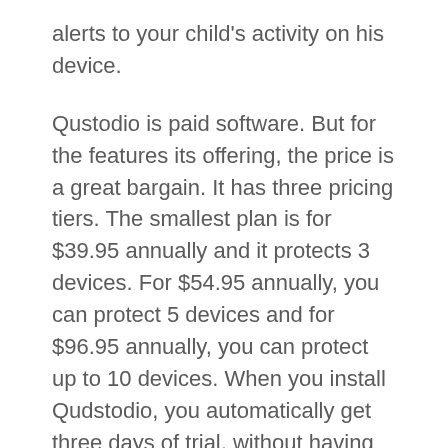alerts to your child's activity on his device.
Qustodio is paid software. But for the features its offering, the price is a great bargain. It has three pricing tiers. The smallest plan is for $39.95 annually and it protects 3 devices. For $54.95 annually, you can protect 5 devices and for $96.95 annually, you can protect up to 10 devices. When you install Qudstodio, you automatically get three days of trial, without having to put in your card details. This means you can try out the software, without having to